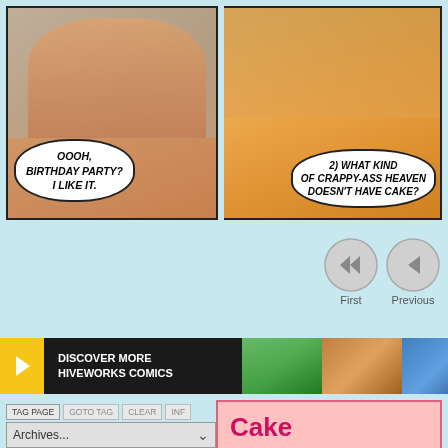[Figure (illustration): Comic panel left: character with orange hair in plaid shirt, speech bubble 'OOOH, BIRTHDAY PARTY? I LIKE IT.']
[Figure (illustration): Comic panel right: character raising fist, speech bubble '2) WHAT KIND OF CRAPPY-ASS HEAVEN DOESN'T HAVE CAKE?']
[Figure (illustration): Navigation buttons: First (double left arrow) and Previous (single left arrow) with labels]
[Figure (illustration): Hiveworks Comics banner with left arrow, black text block saying DISCOVER MORE HIVEWORKS COMICS, and comic character thumbnails]
TAG PAGE  GOTO TAG  CLEAR  INF
Archives...
[Figure (illustration): NSFW image thumbnail with large NSFW text and illustrated character]
Cake
by David M Willis on August 15, 2021 at 12:01
05 – As Long As It's Free
└ Tags: becky, joyce
Discussion (230) ¬